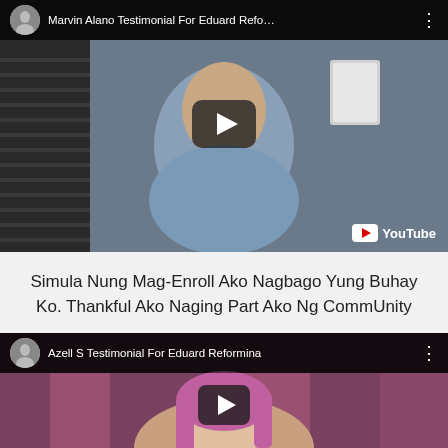[Figure (screenshot): YouTube embedded video thumbnail for 'Marvin Alano Testimonial For Eduard Refo...' showing a man in a blue shirt with a play button overlay and YouTube logo badge]
Simula Nung Mag-Enroll Ako Nagbago Yung Buhay Ko. Thankful Ako Naging Part Ako Ng CommUnity
[Figure (screenshot): YouTube embedded video thumbnail for 'Azell S Testimonial For Eduard Reformina' showing a woman with pink/purple hair and a play button overlay]